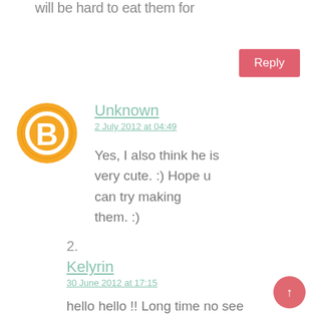will be hard to eat them for
Reply
[Figure (logo): Blogger orange circle avatar icon]
Unknown
2 July 2012 at 04:49
Yes, I also think he is very cute. :) Hope u can try making them. :)
2.
Kelyrin
30 June 2012 at 17:15
hello hello !! Long time no see